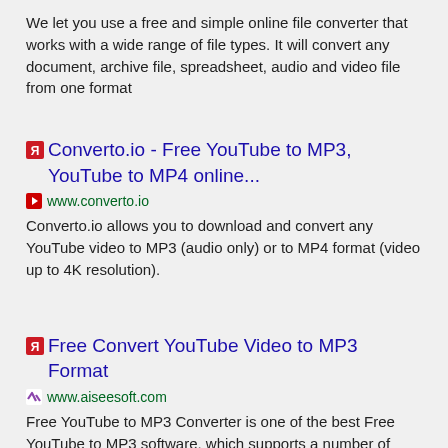We let you use a free and simple online file converter that works with a wide range of file types. It will convert any document, archive file, spreadsheet, audio and video file from one format
Converto.io - Free YouTube to MP3, YouTube to MP4 online...
www.converto.io
Converto.io allows you to download and convert any YouTube video to MP3 (audio only) or to MP4 format (video up to 4K resolution).
Free Convert YouTube Video to MP3 Format
www.aiseesoft.com
Free YouTube to MP3 Converter is one of the best Free YouTube to MP3 software, which supports a number of YouTube video formats, such as MOV, AVI, FLV WMV, MPEG4